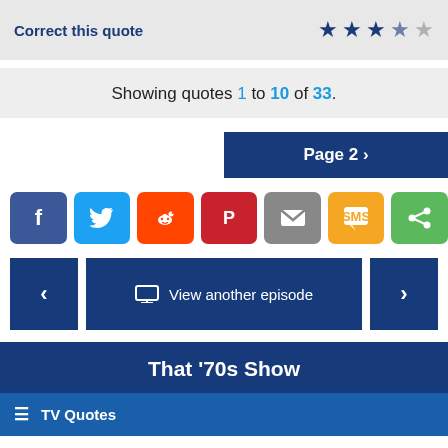Correct this quote
Showing quotes 1 to 10 of 33.
Page 2 >
[Figure (infographic): Social sharing buttons: Facebook, Twitter, Reddit, Pinterest, Email, SMS, Share]
< View another episode >
That '70s Show
TV Quotes